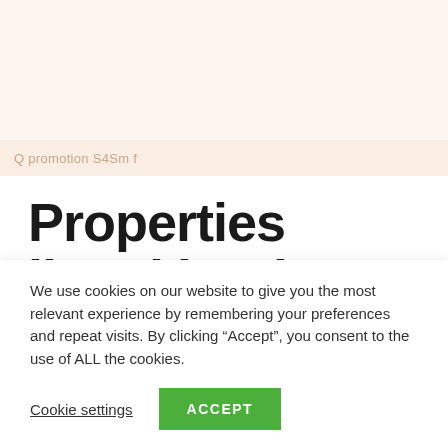Q promotion S4Sm f
Properties listed in Airport transfer
We use cookies on our website to give you the most relevant experience by remembering your preferences and repeat visits. By clicking “Accept”, you consent to the use of ALL the cookies.
Cookie settings  ACCEPT